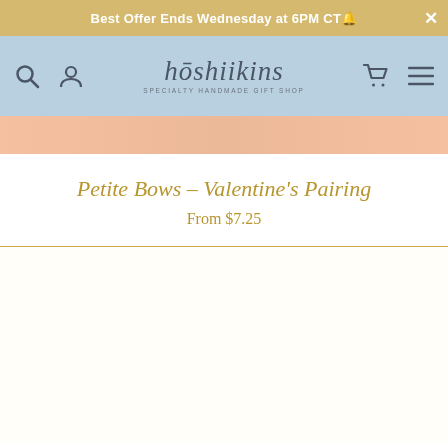Best Offer Ends Wednesday at 6PM CT🔔
[Figure (screenshot): hōshiikins brand logo with tagline]
Petite Bows – Valentine's Pairing
From $7.25